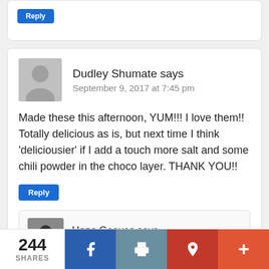[Figure (other): Reply button at top of page (partial previous comment card)]
Dudley Shumate says
September 9, 2017 at 7:45 pm
Made these this afternoon, YUM!!! I love them!! Totally delicious as is, but next time I think 'deliciousier' if I add a touch more salt and some chili powder in the choco layer. THANK YOU!!
Reply
Hope Geeves says
November 9, 2017 at 11:45 pm
244
SHARES